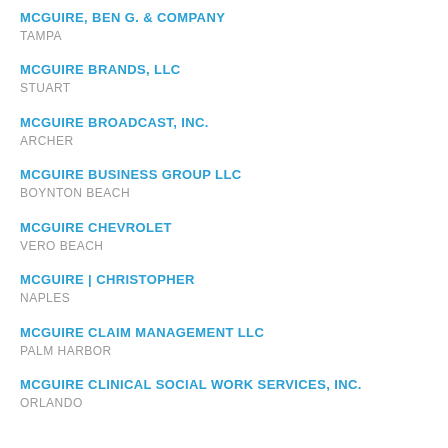MCGUIRE, BEN G. & COMPANY
TAMPA
MCGUIRE BRANDS, LLC
STUART
MCGUIRE BROADCAST, INC.
ARCHER
MCGUIRE BUSINESS GROUP LLC
BOYNTON BEACH
MCGUIRE CHEVROLET
VERO BEACH
MCGUIRE | CHRISTOPHER
NAPLES
MCGUIRE CLAIM MANAGEMENT LLC
PALM HARBOR
MCGUIRE CLINICAL SOCIAL WORK SERVICES, INC.
ORLANDO